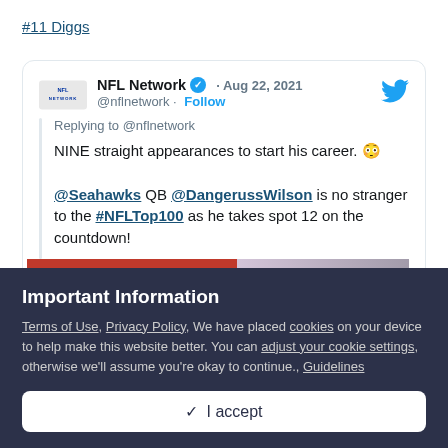#11 Diggs
[Figure (screenshot): NFL Network tweet from Aug 22, 2021 about @DangerussWilson taking spot 12 on #NFLTop100]
Important Information
Terms of Use, Privacy Policy, We have placed cookies on your device to help make this website better. You can adjust your cookie settings, otherwise we'll assume you're okay to continue., Guidelines
✓ I accept